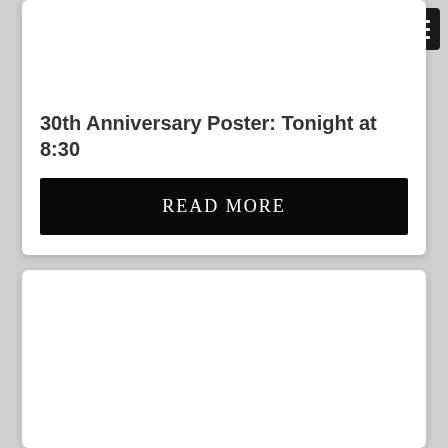30th Anniversary Poster: Tonight at 8:30
READ MORE
[Figure (other): Empty white card panel at bottom of page]